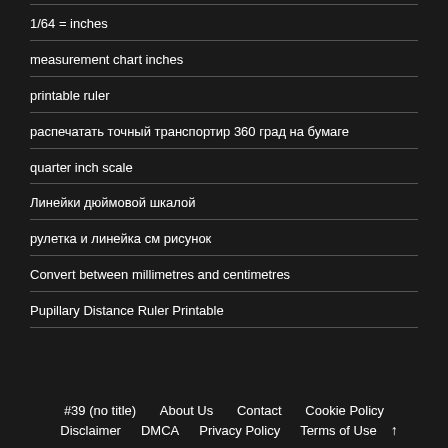1/64 = inches
measurement chart inches
printable ruler
распечатать точный транспортир 360 град на бумаге
quarter inch scale
Линейки дюймовой шкалой
рулетка и линейка см рисунок
Convert between millimetres and centimetres
Pupillary Distance Ruler Printable
#39 (no title)   About Us   Contact   Cookie Policy   Disclaimer   DMCA   Privacy Policy   Terms of Use   ↑